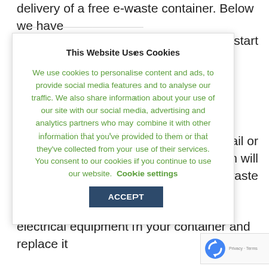delivery of a free e-waste container. Below we have [partially obscured] to start
[Figure (screenshot): Cookie consent modal dialog with title 'This Website Uses Cookies', green body text describing cookie usage policy, a 'Cookie settings' green text link, and a dark blue 'ACCEPT' button.]
nail or ycling team will waste
d even h all their iipment.
ntainer is full ecycling team
nt IT and electrical equipment in your container and replace it
[Figure (logo): reCAPTCHA badge with spinning arrows logo, 'Privacy - Terms' text below]